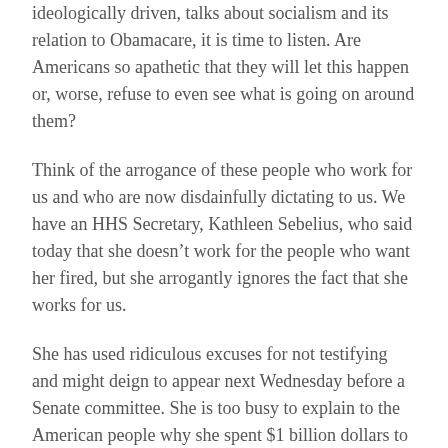ideologically driven, talks about socialism and its relation to Obamacare, it is time to listen. Are Americans so apathetic that they will let this happen or, worse, refuse to even see what is going on around them?
Think of the arrogance of these people who work for us and who are now disdainfully dictating to us. We have an HHS Secretary, Kathleen Sebelius, who said today that she doesn't work for the people who want her fired, but she arrogantly ignores the fact that she works for us.
She has used ridiculous excuses for not testifying and might deign to appear next Wednesday before a Senate committee. She is too busy to explain to the American people why she spent $1 billion dollars to set up a website that doesn't work. Her incompetence is stunning. She managed the website without even seeing to it that the most obvious routines such as testing the site were carried out until the last moment and, even then, the site was not beta tested.
She lied to Sanjay Gupta in a recent interview, saying the